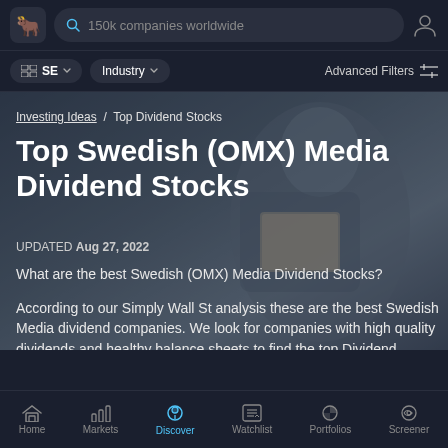150k companies worldwide
SE   Industry   Advanced Filters
[Figure (screenshot): Hero background image showing a blurred person reading a book/newspaper, used as background for article header on Top Swedish (OMX) Media Dividend Stocks]
Investing Ideas / Top Dividend Stocks
Top Swedish (OMX) Media Dividend Stocks
UPDATED Aug 27, 2022
What are the best Swedish (OMX) Media Dividend Stocks?
According to our Simply Wall St analysis these are the best Swedish Media dividend companies. We look for companies with high quality dividends and healthy balance sheets to find the top Dividend
Home   Markets   Discover   Watchlist   Portfolios   Screener